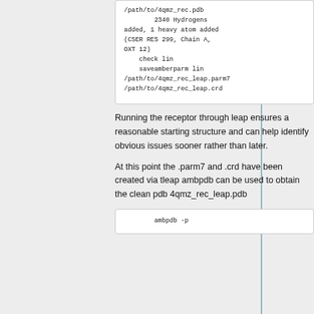[Figure (screenshot): Code block showing leap output: /path/to/4qmz_rec.pdb, 2340 Hydrogens added, 1 heavy atom added (CSER RES 299, Chain A, OXT 12), check lin, saveamberparm lin /path/to/4qmz_rec_leap.parm7 /path/to/4qmz_rec_leap.crd]
Running the receptor through leap ensures a reasonable starting structure and can help identify obvious issues sooner rather than later.
At this point the .parm7 and .crd have been created via tleap ambpdb can be used to obtain the clean pdb 4qmz_rec_leap.pdb
[Figure (screenshot): Code block starting with: ambpdb -p]